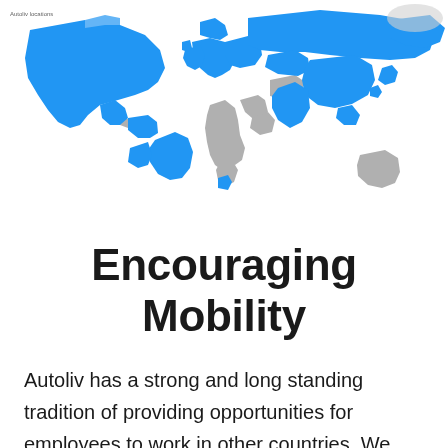[Figure (map): World map showing Autoliv locations highlighted in blue. North America, most of Europe, parts of South America (Brazil), Russia, China, Japan, South Korea, and parts of Southeast Asia are highlighted in blue. Africa, Middle East, Central Asia, and Australia are shown in grey.]
Encouraging Mobility
Autoliv has a strong and long standing tradition of providing opportunities for employees to work in other countries. We